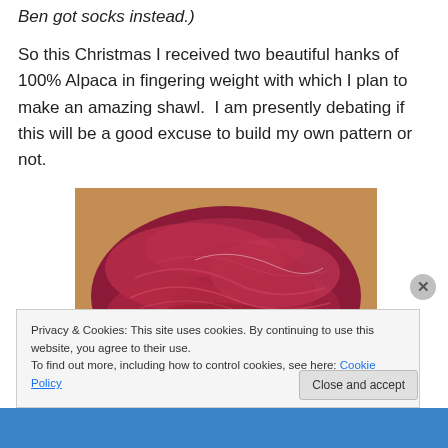Ben got socks instead.)
So this Christmas I received two beautiful hanks of 100% Alpaca in fingering weight with which I plan to make an amazing shawl.  I am presently debating if this will be a good excuse to build my own pattern or not.
[Figure (photo): Photo of two hanks of dark red/crimson 100% Alpaca fingering weight yarn resting on a wooden surface.]
Privacy & Cookies: This site uses cookies. By continuing to use this website, you agree to their use.
To find out more, including how to control cookies, see here: Cookie Policy
Close and accept